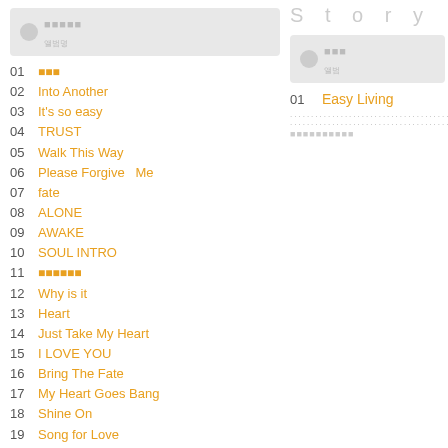앨범목록
01 곡명
02 Into Another
03 It's so easy
04 TRUST
05 Walk This Way
06 Please Forgive Me
07 fate
08 ALONE
09 AWAKE
10 SOUL INTRO
11 곡이름들
12 Why is it
13 Heart
14 Just Take My Heart
15 I LOVE YOU
16 Bring The Fate
17 My Heart Goes Bang
18 Shine On
19 Song for Love
20 One Step Away
S t o r y
앨범
01 Easy Living
...............................................
앨범설명텍스트